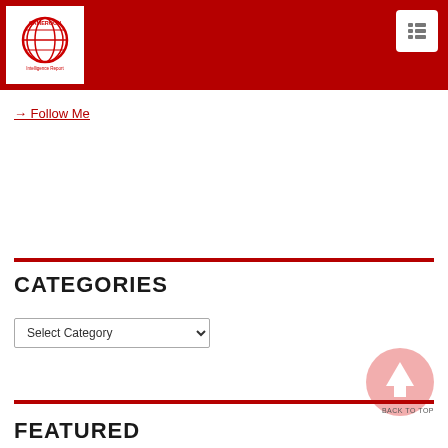[Figure (logo): Cameroon Intelligence Report logo — globe icon in red on white background with text 'CAMEROON Intelligence Report']
[Figure (other): Menu/list icon button — white square with three rows of dots and lines (hamburger list icon) on dark red background]
→ Follow Me
CATEGORIES
Select Category
[Figure (other): Back to top button — large pink/light-red circle with upward-pointing white arrow]
BACK TO TOP
FEATURED